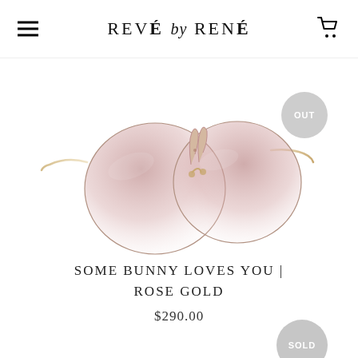REVÉ by RENÉ
[Figure (photo): Rimless round sunglasses with gold metal arms and a small bunny ear accent on the bridge, lenses tinted with rose gold gradient fading from darker pink at top to nearly clear at bottom. Product photo on white background.]
SOME BUNNY LOVES YOU | ROSE GOLD
$290.00